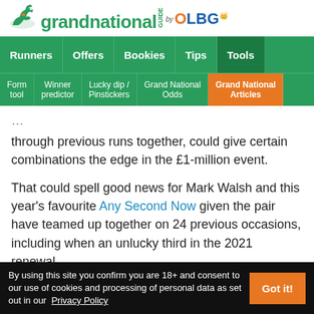[Figure (logo): Grand National Guide by OLBG logo with horse and jockey icon]
Runners | Offers | Bookies | Tips | Tools
Form tool | Winner predictor | Lucky dip / Pinstickers | Grand National Odds | Grand National Articles (active)
through previous runs together, could give certain combinations the edge in the £1-million event.
That could spell good news for Mark Walsh and this year's favourite Any Second Now given the pair have teamed up together on 24 previous occasions, including when an unlucky third in the 2021 renewal.
One of the sport's greatest talents Rachael Blackmore will
By using this site you confirm you are 18+ and consent to our use of cookies and processing of personal data as set out in our Privacy Policy  Got it!